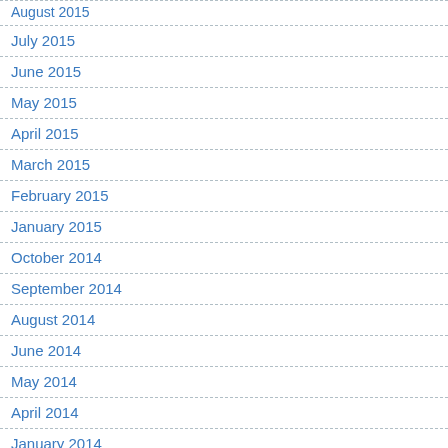August 2015
July 2015
June 2015
May 2015
April 2015
March 2015
February 2015
January 2015
October 2014
September 2014
August 2014
June 2014
May 2014
April 2014
January 2014